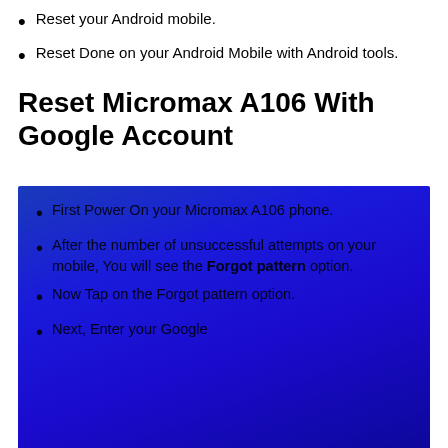Reset your Android mobile.
Reset Done on your Android Mobile with Android tools.
Reset Micromax A106 With Google Account
First Power On your Micromax A106 phone.
After the number of unsuccessful attempts on your mobile, You will see the Forgot pattern option.
Now Tap on the Forgot pattern option.
Next, Enter your Google